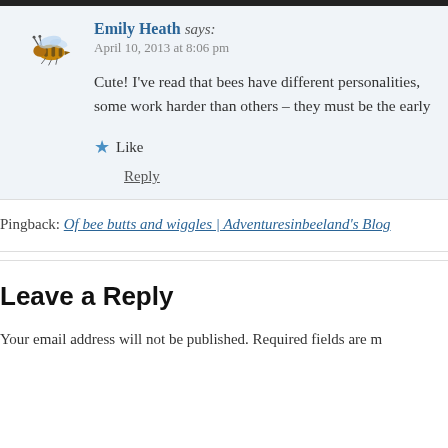[Figure (illustration): Small illustrated bee icon used as comment avatar]
Emily Heath says:
April 10, 2013 at 8:06 pm
Cute! I've read that bees have different personalities, some work harder than others – they must be the early
★ Like
Reply
Pingback: Of bee butts and wiggles | Adventuresinbeeland's Blog
Leave a Reply
Your email address will not be published. Required fields are m